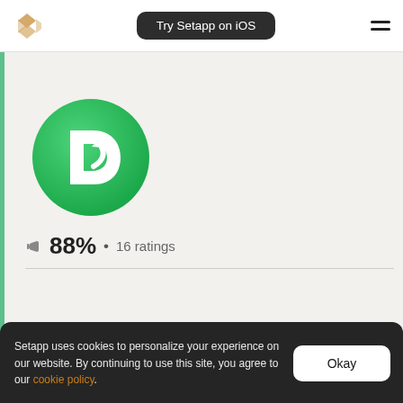Try Setapp on iOS
[Figure (logo): Setapp logo: four diamond shapes in a kite pattern, orange/tan color]
[Figure (logo): App icon: green circle with white stylized D/arrow symbol (Disk Diag or similar app)]
88% • 16 ratings
Setapp uses cookies to personalize your experience on our website. By continuing to use this site, you agree to our cookie policy.
Okay